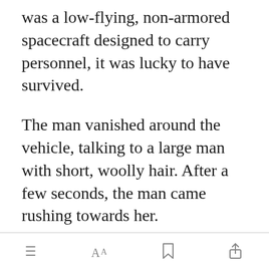was a low-flying, non-armored spacecraft designed to carry personnel, it was lucky to have survived.
The man vanished around the vehicle, talking to a large man with short, woolly hair. After a few seconds, the man came rushing towards her.
[Figure (other): Green 'Open in app' button]
App navigation bar with menu, font, bookmark, and share icons